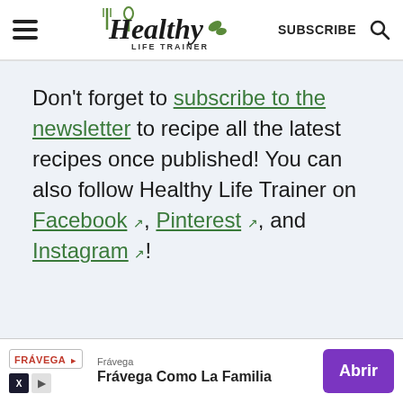Healthy Life Trainer — SUBSCRIBE
Don't forget to subscribe to the newsletter to recipe all the latest recipes once published! You can also follow Healthy Life Trainer on Facebook, Pinterest, and Instagram!
[Figure (infographic): Advertisement banner for Frávega with logo, tagline 'Frávega Como La Familia', and purple 'Abrir' button]